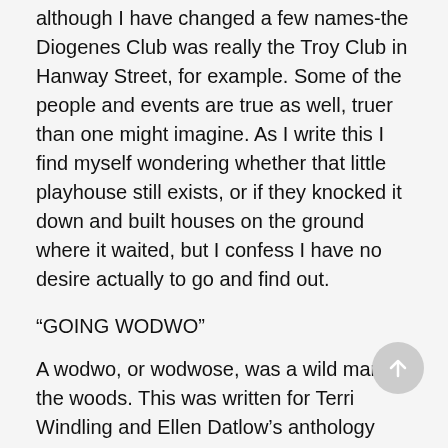although I have changed a few names-the Diogenes Club was really the Troy Club in Hanway Street, for example. Some of the people and events are true as well, truer than one might imagine. As I write this I find myself wondering whether that little playhouse still exists, or if they knocked it down and built houses on the ground where it waited, but I confess I have no desire actually to go and find out.
“GOING WODWO”
A wodwo, or wodwose, was a wild man of the woods. This was written for Terri Windling and Ellen Datlow’s anthology The Green Man.
“BITTER GROUNDS”